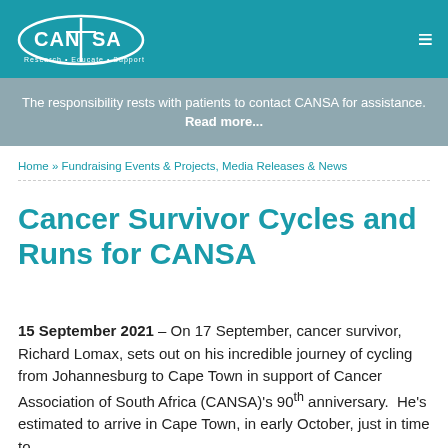[Figure (logo): CANSA logo — oval shape with CANSA text and tagline 'Research • Educate • Support' on teal background]
The responsibility rests with patients to contact CANSA for assistance. Read more...
Home » Fundraising Events & Projects, Media Releases & News
Cancer Survivor Cycles and Runs for CANSA
15 September 2021 – On 17 September, cancer survivor, Richard Lomax, sets out on his incredible journey of cycling from Johannesburg to Cape Town in support of Cancer Association of South Africa (CANSA)'s 90th anniversary.  He's estimated to arrive in Cape Town, in early October, just in time to